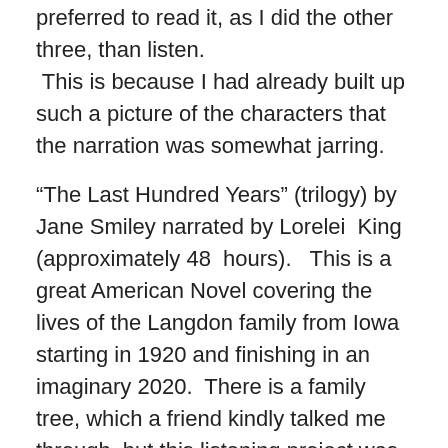preferred to read it, as I did the other three, than listen.  This is because I had already built up such a picture of the characters that the narration was somewhat jarring.
“The Last Hundred Years” (trilogy) by Jane Smiley narrated by Lorelei  King (approximately 48  hours).   This is a great American Novel covering the lives of the Langdon family from Iowa starting in 1920 and finishing in an imaginary 2020.  There is a family tree, which a friend kindly talked me through, but this listening project was a real test of my memory.  Worth doing though, especially as I had heard Jane Smiley talk about her work at the Cheltenham Festival.  She really loves horses!
Films
“Spectre” James Bond – Daniel Craig – fun and easy to watch.